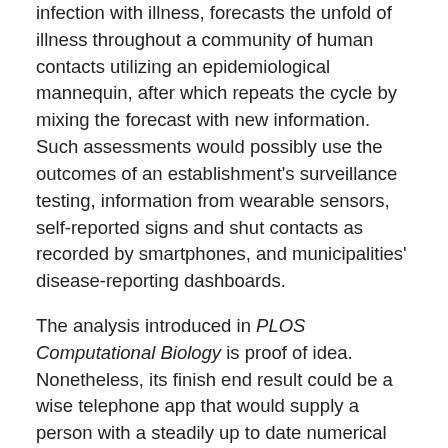infection with illness, forecasts the unfold of illness throughout a community of human contacts utilizing an epidemiological mannequin, after which repeats the cycle by mixing the forecast with new information. Such assessments would possibly use the outcomes of an establishment's surveillance testing, information from wearable sensors, self-reported signs and shut contacts as recorded by smartphones, and municipalities' disease-reporting dashboards.
The analysis introduced in PLOS Computational Biology is proof of idea. Nonetheless, its finish end result could be a wise telephone app that would supply a person with a steadily up to date numerical evaluation (i.e., a share) that displays their chance of getting been uncovered to or contaminated with a specific infectious illness agent, equivalent to COVID-19.